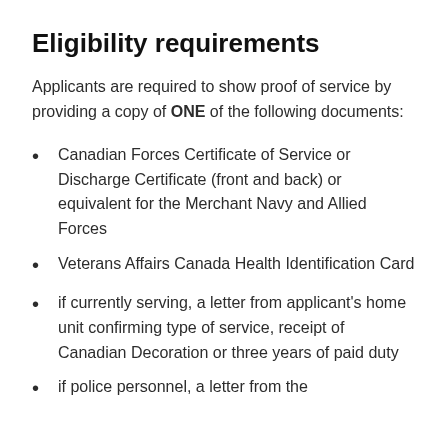Eligibility requirements
Applicants are required to show proof of service by providing a copy of ONE of the following documents:
Canadian Forces Certificate of Service or Discharge Certificate (front and back) or equivalent for the Merchant Navy and Allied Forces
Veterans Affairs Canada Health Identification Card
if currently serving, a letter from applicant's home unit confirming type of service, receipt of Canadian Decoration or three years of paid duty
if police personnel, a letter from the